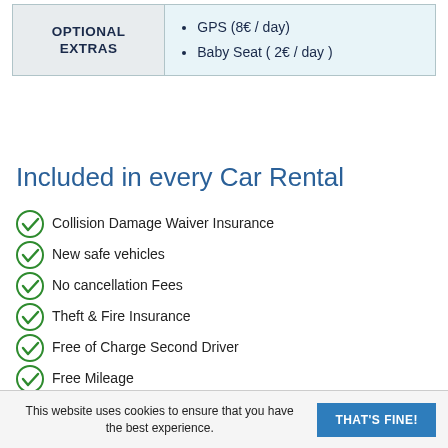| OPTIONAL EXTRAS | Items |
| --- | --- |
| OPTIONAL EXTRAS | GPS (8€ / day)
Baby Seat ( 2€ / day ) |
Included in every Car Rental
Collision Damage Waiver Insurance
New safe vehicles
No cancellation Fees
Theft & Fire Insurance
Free of Charge Second Driver
Free Mileage
Third Part Liabilities & Personal Insurance
All Taxes Included (V.A.T. etc)
No hidden costs
This website uses cookies to ensure that you have the best experience.